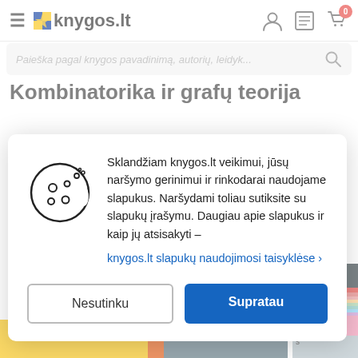knygos.lt — header with hamburger menu, logo, user icon, list icon, cart (0)
Paieška pagal knygos pavadinimą, autorių, leidyk...
Kombinatorika ir grafų teorija
Sklandžiam knygos.lt veikimui, jūsų naršymo gerinimui ir rinkodarai naudojame slapukus. Naršydami toliau sutiksite su slapukų įrašymu. Daugiau apie slapukus ir kaip jų atsisakyti – knygos.lt slapukų naudojimosi taisyklėse ›